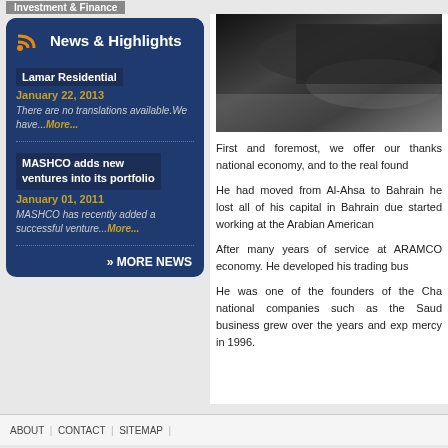Investment & Finance
News & Highlights
Lamar Residential
January 22, 2013
There are no translations available.We have...More...
MASHCO adds new ventures into its portfolio
January 01, 2011
MASHCO has recently added a successful venture...More...
» MORE NEWS
[Figure (photo): Black and white close-up photograph, partially visible on right side of page]
First and foremost, we offer our thanks national economy, and to the real found
He had moved from Al-Ahsa to Bahrain he lost all of his capital in Bahrain due started working at the Arabian American
After many years of service at ARAMCO economy. He developed his trading bus
He was one of the founders of the Cha national companies such as the Saud business grew over the years and exp mercy in 1996.
ABOUT | CONTACT | SITEMAP |